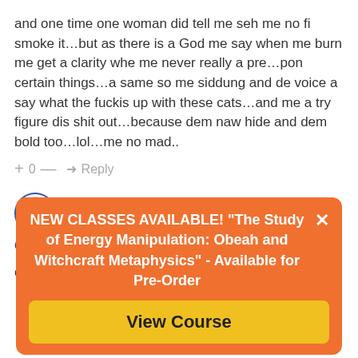and one time one woman did tell me seh me no fi smoke it…but as there is a God me say when me burn me get a clarity whe me never really a pre…pon certain things…a same so me siddung and de voice a say what the fuckis up with these cats…and me a try figure dis shit out…because dem naw hide and dem bold too…lol…me no mad..
+ 0 — ➜ Reply
[Figure (illustration): Avatar icon showing CM initials in gold/orange with red curved line at bottom, circular blue border]
Member
Obara Meji  🕐 11 years ago  ⬡  🔗
of couse mi know wha yuh ah sey, yuh mad! ase!!!
NEW CLASSES AVAILABLE! "The Study of Energy Manipulation: Obeah and Witchcraft Metaphysics" - Available for Pre-Order
View Course